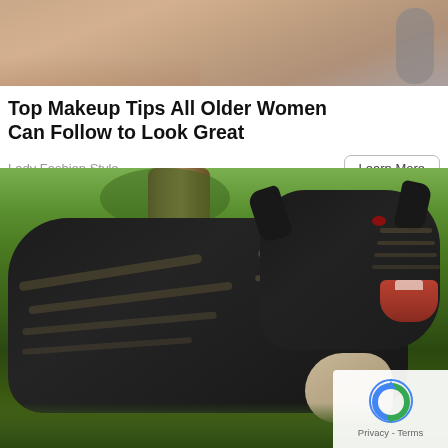[Figure (photo): Close-up photo of a woman's face/neck, partially cropped at top, with gray clothing visible at right edge]
Top Makeup Tips All Older Women Can Follow to Look Great
Lady Fashion Style
Learn More
[Figure (photo): Two large black brindle Cane Corso dogs standing outdoors near a tree trunk and rock, with greenery in background. A reCAPTCHA privacy badge is visible in the bottom-right corner.]